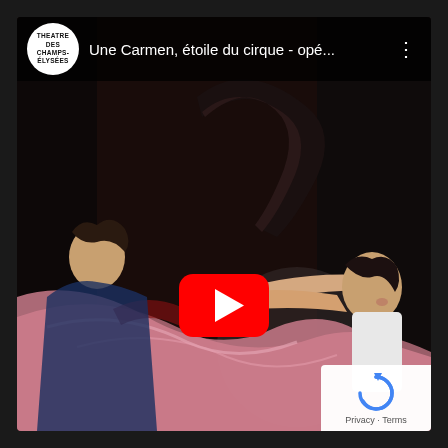[Figure (screenshot): YouTube video thumbnail screenshot showing a theatrical performance still from 'Une Carmen, étoile du cirque - opé...' with the Théâtre des Champs-Élysées logo. The image shows performers with a bull/horns prop and pink fabric. A red YouTube play button is overlaid in the center. A reCAPTCHA badge appears in the bottom right corner with 'Privacy - Terms' text.]